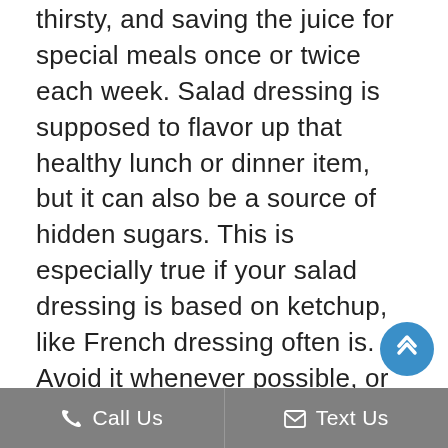thirsty, and saving the juice for special meals once or twice each week. Salad dressing is supposed to flavor up that healthy lunch or dinner item, but it can also be a source of hidden sugars. This is especially true if your salad dressing is based on ketchup, like French dressing often is. Avoid it whenever possible, or try a small serving of oil and vinegar dressing instead. Granola is considered a relatively healthy food, and it is usually good for the teeth, too. However, it is often very high in how much sugar it contains. Before eating another granola cereal or bar, check the label to see just how much sugar you are getting out of it. It may not be worth
Call Us   Text Us